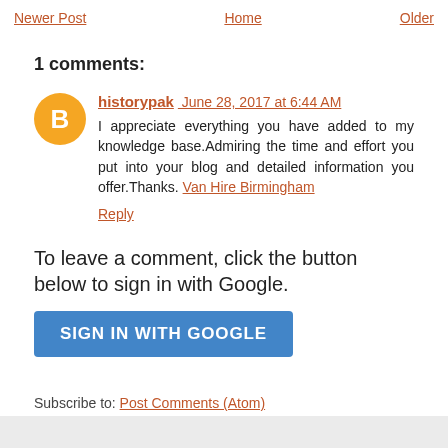Newer Post  Home  Older
1 comments:
[Figure (other): Orange blogger avatar icon with letter B]
historypak June 28, 2017 at 6:44 AM
I appreciate everything you have added to my knowledge base.Admiring the time and effort you put into your blog and detailed information you offer.Thanks. Van Hire Birmingham
Reply
To leave a comment, click the button below to sign in with Google.
SIGN IN WITH GOOGLE
Subscribe to: Post Comments (Atom)